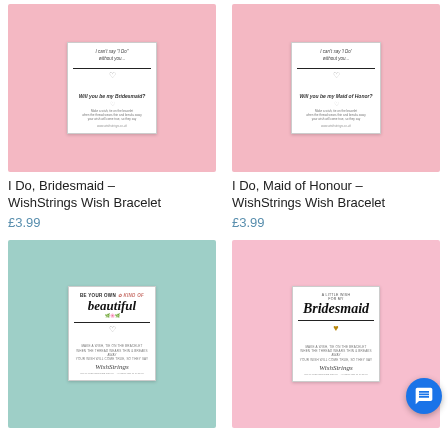[Figure (photo): Product photo: I Do, Bridesmaid WishStrings Wish Bracelet on pink background, showing a white greeting card with bracelet]
I Do, Bridesmaid – WishStrings Wish Bracelet
£3.99
[Figure (photo): Product photo: I Do, Maid of Honour WishStrings Wish Bracelet on pink background, showing a white greeting card with bracelet]
I Do, Maid of Honour – WishStrings Wish Bracelet
£3.99
[Figure (photo): Product photo: Be Your Own Kind of Beautiful WishStrings Wish Bracelet on teal/mint background]
[Figure (photo): Product photo: A Little Wish for my Bridesmaid WishStrings Wish Bracelet on pink background]